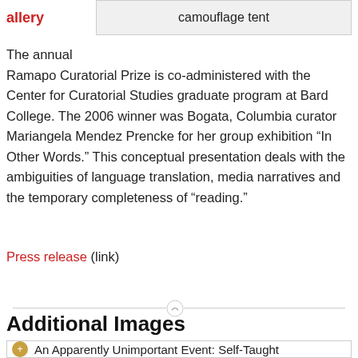allery
| camouflage tent |
The annual Ramapo Curatorial Prize is co-administered with the Center for Curatorial Studies graduate program at Bard College. The 2006 winner was Bogata, Columbia curator Mariangela Mendez Prencke for her group exhibition “In Other Words.” This conceptual presentation deals with the ambiguities of language translation, media narratives and the temporary completeness of “reading.”
Press release (link)
Additional Images
An Apparently Unimportant Event: Self-Taught